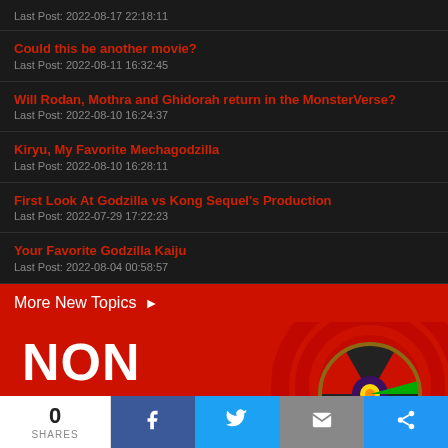Last Post: 2022-08-17 22:18:11
Could this be another movie?
Last Post: 2022-08-11 16:32:45
Will Rodan, Mothra and Ghidorah return in the MonsterVerse?
Last Post: 2022-08-10 16:24:37
Kiryu, My Favorite Mechagodzilla
Last Post: 2022-08-10 16:28:11
First Look At Godzilla vs Kong Sequel's Production
Last Post: 2022-07-29 17:22:23
Your Favorite Godzilla Kaiju
Last Post: 2022-08-04 00:58:57
More New Topics ▶
[Figure (illustration): NON STOP banner advertisement with roulette wheel graphic on red background]
0 SHARES